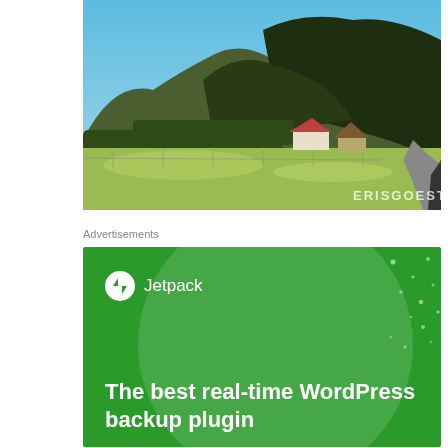[Figure (photo): Outdoor landscape photo showing a green field with a small house with a red roof and a thatched-roof gazebo structure, set against a backdrop of dark forested mountains under a blue sky. A paved road is visible on the right edge. Watermark 'ERISGOESTO' in the bottom right corner.]
Advertisements
[Figure (screenshot): Jetpack WordPress plugin advertisement on a green background. Shows the Jetpack logo (circle with lightning bolt icon) and name 'Jetpack' at top left, a large semi-transparent circle decorative element, scattered white dots, and bold white text reading 'The best real-time WordPress backup plugin'.]